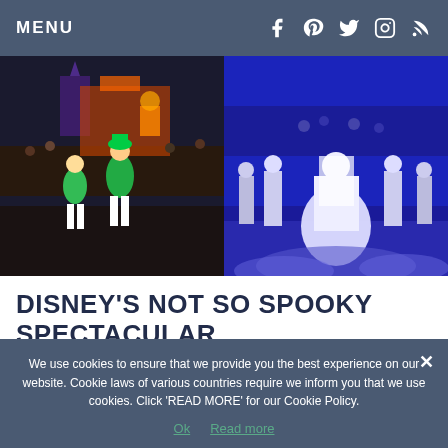MENU
[Figure (photo): Disney parade performers in colorful green and orange costumes dancing at night on Main Street]
[Figure (photo): Bride character in white gown surrounded by dancers in blue-lit parade scene at night]
DISNEY'S NOT SO SPOOKY SPECTACULAR
We use cookies to ensure that we provide you the best experience on our website. Cookie laws of various countries require we inform you that we use cookies. Click 'READ MORE' for our Cookie Policy.
Ok  Read more